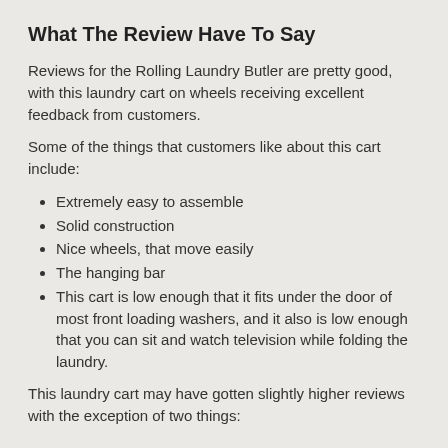What The Review Have To Say
Reviews for the Rolling Laundry Butler are pretty good, with this laundry cart on wheels receiving excellent feedback from customers.
Some of the things that customers like about this cart include:
Extremely easy to assemble
Solid construction
Nice wheels, that move easily
The hanging bar
This cart is low enough that it fits under the door of most front loading washers, and it also is low enough that you can sit and watch television while folding the laundry.
This laundry cart may have gotten slightly higher reviews with the exception of two things: